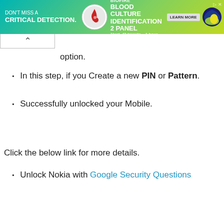[Figure (screenshot): Advertisement banner for BioFire Blood Culture Identification 2 Panel by bioMérieux. Teal/green gradient background with text 'DON'T MISS A CRITICAL DETECTION.' and 'BIOFIRE BLOOD CULTURE IDENTIFICATION 2 PANEL' with a LEARN MORE button and bioMérieux logo.]
option.
In this step, if you Create a new PIN or Pattern.
Successfully unlocked your Mobile.
Click the below link for more details.
Unlock Nokia with Google Security Questions